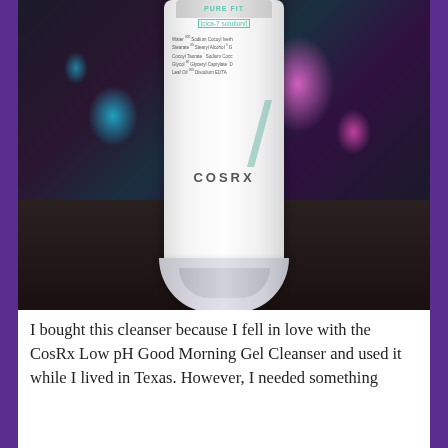[Figure (photo): A white COSRX cleanser tube (cica-7 solution) standing upright on a dark wooden table surface, with colorful floral fabric (purple, teal, pink) in the background. The tube displays ingredients text and a teal slash/number design.]
I bought this cleanser because I fell in love with the CosRx Low pH Good Morning Gel Cleanser and used it while I lived in Texas. However, I needed something